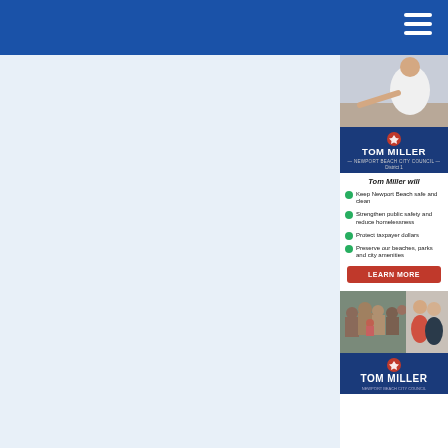[Figure (screenshot): Blue navigation header bar with hamburger menu icon on the right]
[Figure (photo): Tom Miller campaign advertisement sidebar. Contains a photo of a person, Tom Miller logo banner, campaign promises, Learn More button, and photo collage at bottom.]
Tom Miller will
Keep Newport Beach safe and clean
Strengthen public safety and reduce homelessness
Protect taxpayer dollars
Preserve our beaches, parks and city amenities